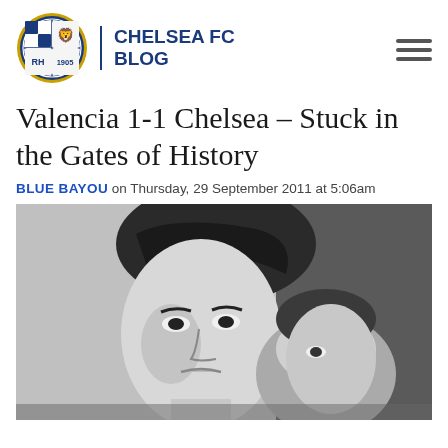[Figure (logo): Chelsea FC Blog logo: circular Chelsea FC badge (blue and gold, 1905, lion, RH shield) with vertical blue divider and 'CHELSEA FC BLOG' text in bold blue capitals]
Valencia 1-1 Chelsea – Stuck in the Gates of History
BLUE BAYOU on Thursday, 29 September 2011 at 5:06am
[Figure (photo): Black and white photograph of two people in an intimate close-up scene, a woman with styled hair in the foreground looking forward, and a man behind her]